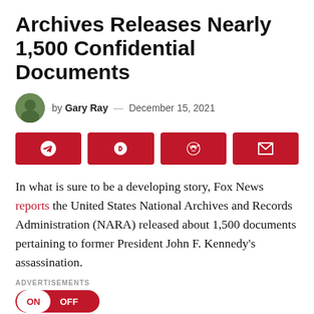Archives Releases Nearly 1,500 Confidential Documents
by Gary Ray — December 15, 2021
[Figure (other): Social share buttons row: Telegram, Rumble, Reddit, Email — all red]
In what is sure to be a developing story, Fox News reports the United States National Archives and Records Administration (NARA) released about 1,500 documents pertaining to former President John F. Kennedy's assassination.
ADVERTISEMENTS
[Figure (other): Advertisement toggle: ON / OFF pill button in red]
Federal authorities charged Lee Harvey Oswalt with